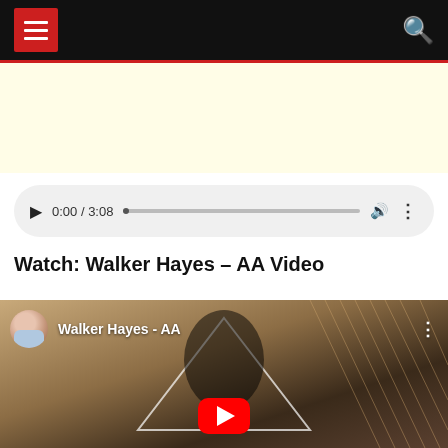Navigation bar with hamburger menu and search icon
[Figure (other): Advertisement banner with pale yellow background]
[Figure (other): Audio player showing 0:00 / 3:08 with play button, progress bar, volume and more icons]
Watch: Walker Hayes – AA Video
[Figure (screenshot): YouTube video thumbnail for Walker Hayes - AA with red play button, channel avatar, and geometric triangle overlay on dark background]